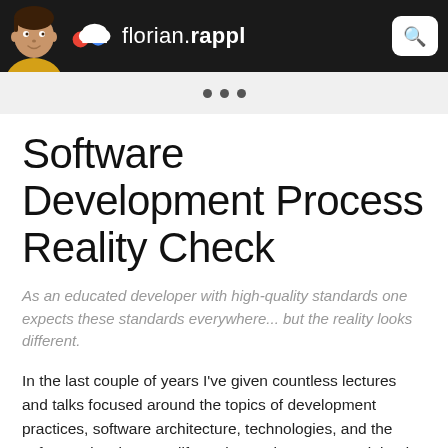florian.rappl
Software Development Process Reality Check
As an educated developer with high-quality standards one expects these standards everywhere... but the reality looks different.
In the last couple of years I've given countless lectures and talks focused around the topics of development practices, software architecture, technologies, and the software development life cycle. Furthermore, I've joined